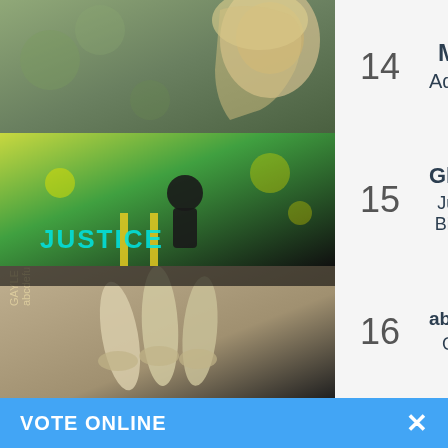| Art | Rank | Song / Artist | Links |
| --- | --- | --- | --- |
| [Adele photo] | 14 | Easy On Me / Adele | YouTube, Spotify, Amazon |
| [Justin Bieber Justice album] | 15 | Ghost / Justin Bieber | YouTube, Spotify, Amazon |
| [GAYLE abcdefu album] | 16 | abcdefu / Gayle | YouTube, Spotify, Amazon |
VOTE ONLINE  ×